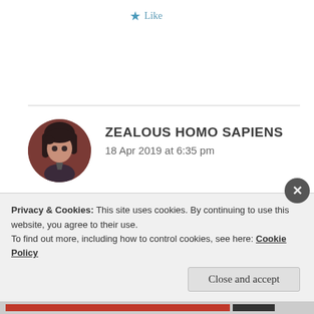★ Like
ZEALOUS HOMO SAPIENS
18 Apr 2019 at 6:35 pm
[Figure (illustration): Circular avatar image showing an anime-style character with dark hair against a dark reddish-brown background]
Abhi chutti chal rahi hai.
★ Like
Privacy & Cookies: This site uses cookies. By continuing to use this website, you agree to their use.
To find out more, including how to control cookies, see here: Cookie Policy
Close and accept